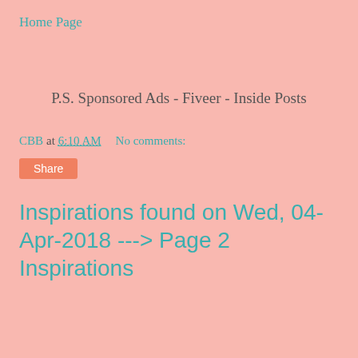Home Page
P.S. Sponsored Ads - Fiveer - Inside Posts
CBB at 6:10 AM    No comments:
Share
Inspirations found on Wed, 04-Apr-2018 ---> Page 2 Inspirations